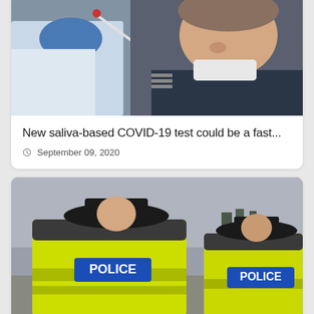[Figure (photo): A medical professional in blue gloves performing a nasal swab COVID-19 test on a man in a dark uniform who is pulling down his mask]
New saliva-based COVID-19 test could be a fast...
September 09, 2020
[Figure (photo): Two British police officers from behind wearing high-visibility yellow jackets with POLICE text and traditional black helmets]
Republicans support the police as racial tension...